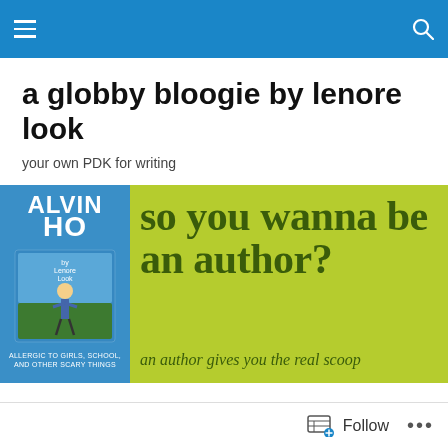Navigation bar with hamburger menu and search icon
a globby bloogie by lenore look
your own PDK for writing
[Figure (illustration): Banner image with green background showing 'so you wanna be an author? an author gives you the real scoop' text alongside an Alvin Ho book cover on a blue background]
My Lucky Day!
Follow  •••